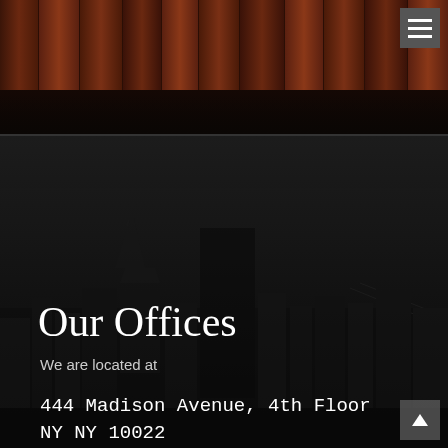[Figure (photo): Dark background with law book spines visible, navigation menu hamburger icon in top-right corner]
[Figure (photo): Dark overlay over New York City skyline showing Chrysler Building and other Manhattan skyscrapers]
Our Offices
We are located at
444 Madison Avenue, 4th Floor
NY NY 10022